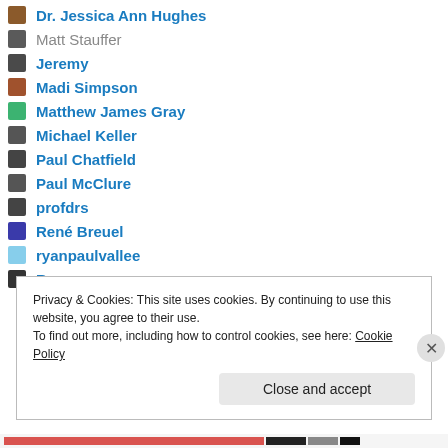Dr. Jessica Ann Hughes
Matt Stauffer
Jeremy
Madi Simpson
Matthew James Gray
Michael Keller
Paul Chatfield
Paul McClure
profdrs
René Breuel
ryanpaulvallee
Ryan
Privacy & Cookies: This site uses cookies. By continuing to use this website, you agree to their use.
To find out more, including how to control cookies, see here: Cookie Policy
Close and accept